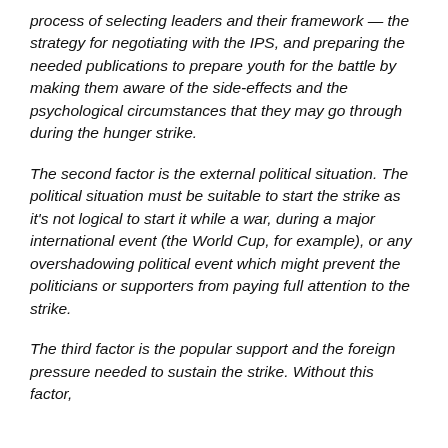process of selecting leaders and their framework — the strategy for negotiating with the IPS, and preparing the needed publications to prepare youth for the battle by making them aware of the side-effects and the psychological circumstances that they may go through during the hunger strike.
The second factor is the external political situation. The political situation must be suitable to start the strike as it's not logical to start it while a war, during a major international event (the World Cup, for example), or any overshadowing political event which might prevent the politicians or supporters from paying full attention to the strike.
The third factor is the popular support and the foreign pressure needed to sustain the strike. Without this factor,